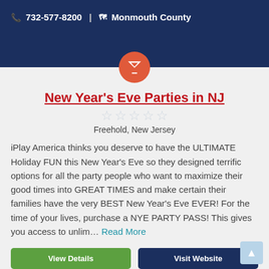732-577-8200 | Monmouth County
New Year's Eve Parties in NJ
Freehold, New Jersey
iPlay America thinks you deserve to have the ULTIMATE Holiday FUN this New Year's Eve so they designed terrific options for all the party people who want to maximize their good times into GREAT TIMES and make certain their families have the very BEST New Year's Eve EVER! For the time of your lives, purchase a NYE PARTY PASS! This gives you access to unlim... Read More